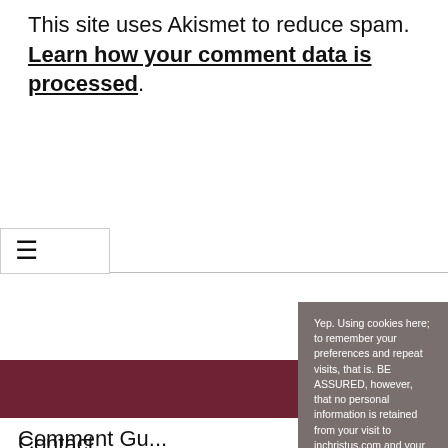This site uses Akismet to reduce spam. Learn how your comment data is processed.
[Figure (screenshot): Hamburger menu icon (three horizontal lines) inside a white box]
Cookie consent popup: Yep. Using cookies here; to remember your preferences and repeat visits, that is. BE ASSURED, however, that no personal information is retained from your visit to inchristus.com and your privacy is respected at all times. Click "ACCEPT" if you consent to the use of ALL the cookies. Otherwise, click "MANAGE" to choose what you want your browser to retain.
Comment Gu...
Contact
My Journey
My Beliefs
My Bio
Essays/Expos...
The Gospel